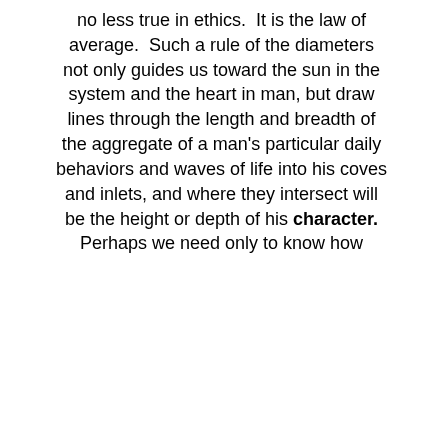no less true in ethics.  It is the law of average.  Such a rule of the diameters not only guides us toward the sun in the system and the heart in man, but draw lines through the length and breadth of the aggregate of a man's particular daily behaviors and waves of life into his coves and inlets, and where they intersect will be the height or depth of his character. Perhaps we need only to know how